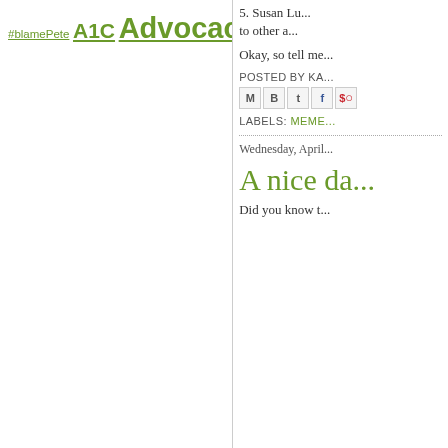[Figure (infographic): Tag cloud with diabetes blog category links in various font sizes, all green colored. Tags include: #blamePete, A1C, Advocacy and Outreach, Almost Wordless, Background, Bitter-Sweet Chips, Blog Carnival, Blood Sugar, Blue Friday, Burnout, CGM, Charlie, Contest, D-Feast Friday, D-OC pals, Depression, Diabetes Blog Week, Diabetes Guilt, DiabetesSisters, Diaversary, Disclosure, dsma, Events, Exercise, Eyes, Feedback, Fld County D-Dinners, Food, Fundraising, Guest Post, Highs and Lows, Highs Suck, Holidays, Infusion Sets, Inspirations, Insulin Pump, Insurance, JDRF, Just being silly, K.C., Less of Me, Looking Back, Lows Suck, Meeting the DOC, Meme]
5. Susan Lu... to other a...
Okay, so tell me...
POSTED BY KA...
LABELS: MEME...
Wednesday, April...
A nice da...
Did you know t...